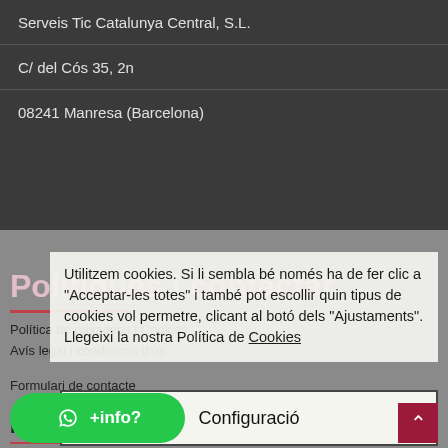Serveis Tic Catalunya Central, S.L.
C/ del Cós 35, 2n
08241 Manresa (Barcelona)
Polítiques i contactar
Política de privadesa i Cookies
Avís legal i condicions d'ús
Formulari de contacte
Utilitzem cookies. Si li sembla bé només ha de fer clic a "Acceptar-les totes" i també pot escollir quin tipus de cookies vol permetre, clicant al botó dels "Ajustaments". Llegeixi la nostra Política de Cookies
Configuració
Acceptar-les totes
+info?
Reg